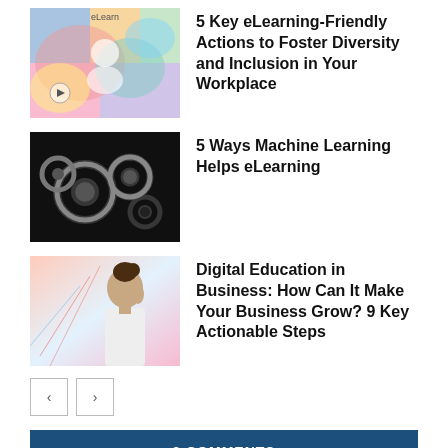[Figure (photo): Colorful illustrated image with eLearn label at top and a person figure]
5 Key eLearning-Friendly Actions to Foster Diversity and Inclusion in Your Workplace
[Figure (photo): Black and white photo of gears/cogs machinery]
5 Ways Machine Learning Helps eLearning
[Figure (photo): Photo of a woman in white looking sideways with digital overlay]
Digital Education in Business: How Can It Make Your Business Grow? 9 Key Actionable Steps
3 COMMENTS
marcusgreen
September 16, 2015 At 2:05 pm